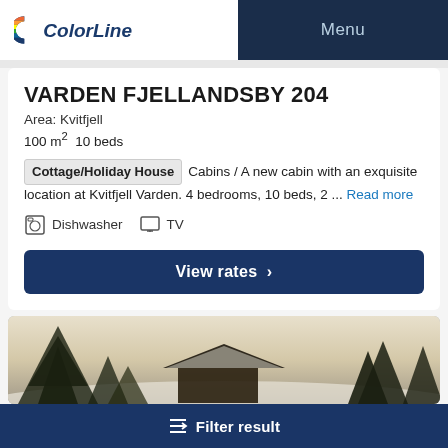Color Line | Menu
VARDEN FJELLANDSBY 204
Area: Kvitfjell
100 m² 10 beds
Cottage/Holiday House Cabins / A new cabin with an exquisite location at Kvitfjell Varden. 4 bedrooms, 10 beds, 2 ... Read more
Dishwasher  TV
View rates
[Figure (photo): Exterior winter photo of a cabin at Kvitfjell Varden with snow-covered trees]
Filter result